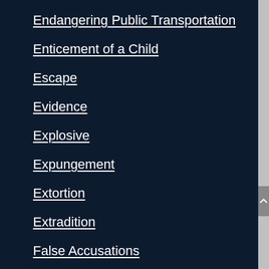Endangering Public Transportation
Enticement of a Child
Escape
Evidence
Explosive
Expungement
Extortion
Extradition
False Accusations
False Imprisonment
False Reporting